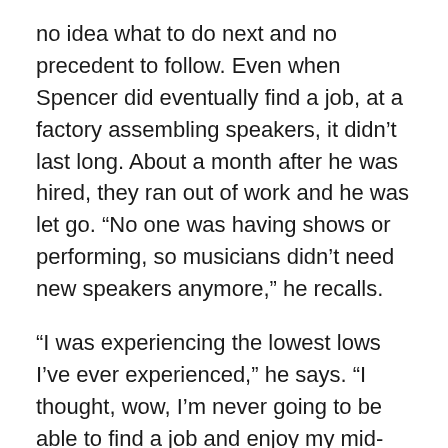no idea what to do next and no precedent to follow. Even when Spencer did eventually find a job, at a factory assembling speakers, it didn't last long. About a month after he was hired, they ran out of work and he was let go. “No one was having shows or performing, so musicians didn't need new speakers anymore,” he recalls.
“I was experiencing the lowest lows I’ve ever experienced,” he says. “I thought, wow, I’m never going to be able to find a job and enjoy my mid-20’s now.”
Things began to take a turn for the better when Spencer was hired as a help desk analyst with Sibcy Cline’s Technology Services department in October of 2020. Now happily employed, he’s grateful for a job, but also happy for having landed safely at a company whose culture is a good fit for him.  “I really like how it’s a family